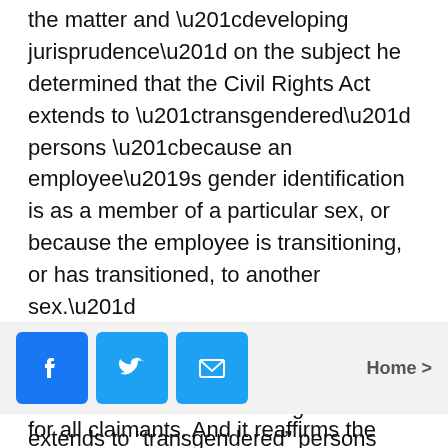the matter and “developing jurisprudence” on the subject he determined that the Civil Rights Act extends to “transgendered” persons “because an employee’s gender identification is as a member of a particular sex, or because the employee is transitioning, or has transitioned, to another sex.”
Connect with Christian News
[Figure (other): Like 969K button and Follow button for Facebook and Twitter]
“This important shift will ensure that the protections of the Civil Rights Act of 1964 are extended to those who suffer discrimination based on gender identity, including transgender status,” he commented in a
[Figure (other): Social share bar with Facebook, Twitter, and email icons, and a Home navigation link]
for all claimants. And it reaffirms the Justice